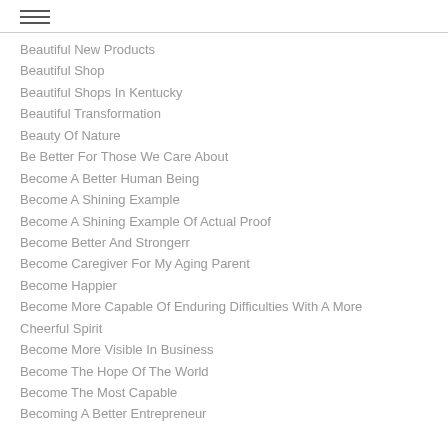Beautiful New Products
Beautiful Shop
Beautiful Shops In Kentucky
Beautiful Transformation
Beauty Of Nature
Be Better For Those We Care About
Become A Better Human Being
Become A Shining Example
Become A Shining Example Of Actual Proof
Become Better And Strongerr
Become Caregiver For My Aging Parent
Become Happier
Become More Capable Of Enduring Difficulties With A More Cheerful Spirit
Become More Visible In Business
Become The Hope Of The World
Become The Most Capable
Becoming A Better Entrepreneur